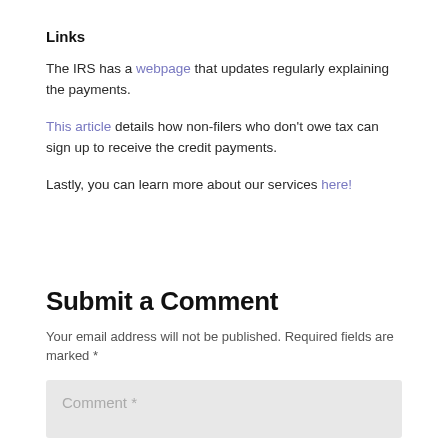Links
The IRS has a webpage that updates regularly explaining the payments.
This article details how non-filers who don't owe tax can sign up to receive the credit payments.
Lastly, you can learn more about our services here!
Submit a Comment
Your email address will not be published. Required fields are marked *
Comment *